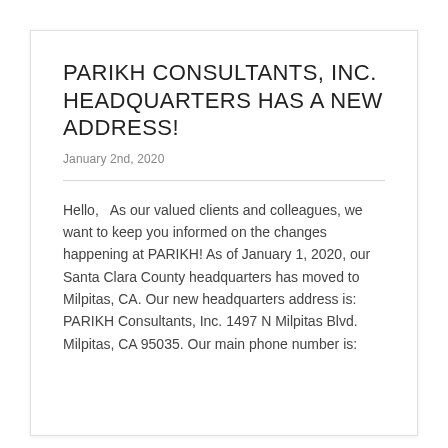PARIKH CONSULTANTS, INC. HEADQUARTERS HAS A NEW ADDRESS!
January 2nd, 2020
Hello,   As our valued clients and colleagues, we want to keep you informed on the changes happening at PARIKH! As of January 1, 2020, our Santa Clara County headquarters has moved to Milpitas, CA. Our new headquarters address is:   PARIKH Consultants, Inc. 1497 N Milpitas Blvd. Milpitas, CA 95035. Our main phone number is: